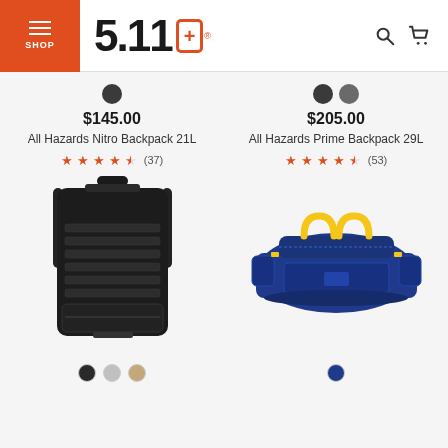5.11 Tactical - SHOP
$145.00
All Hazards Nitro Backpack 21L
★★★★½ (37)
[Figure (photo): Black tactical backpack - All Hazards Nitro Backpack 21L by 5.11]
$205.00
All Hazards Prime Backpack 29L
★★★★½ (53)
[Figure (photo): Blue duffel/backpack bag with yellow handles - All Hazards Prime Backpack 29L by 5.11]